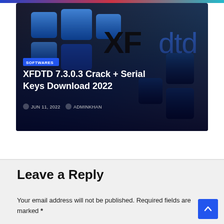[Figure (screenshot): Article card thumbnail for XFDTD 7.3.0.3 Crack + Serial Keys Download 2022, showing XFdtd logo with blue squares on dark gradient background, with SOFTWARES badge and title overlay]
SOFTWARES
XFDTD 7.3.0.3 Crack + Serial Keys Download 2022
JUN 11, 2022   ADMINKHAN
Leave a Reply
Your email address will not be published. Required fields are marked *